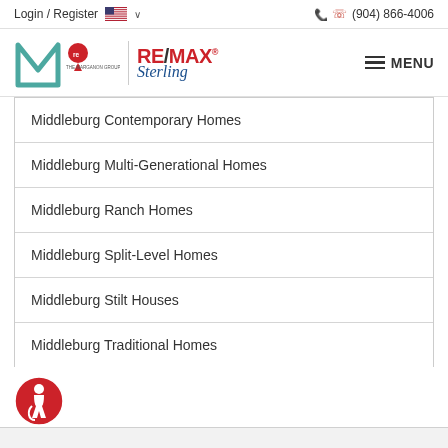Login / Register   🇺🇸 ∨   (904) 866-4006
[Figure (logo): RE/MAX Sterling - The Marganon Group logo with hamburger MENU button]
Middleburg Contemporary Homes
Middleburg Multi-Generational Homes
Middleburg Ranch Homes
Middleburg Split-Level Homes
Middleburg Stilt Houses
Middleburg Traditional Homes
[Figure (illustration): Accessibility icon - red circle with wheelchair user symbol]